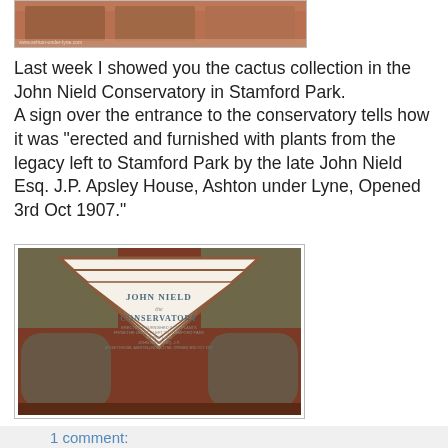[Figure (photo): Top portion of a brick building photo, partially visible at top of page]
Last week I showed you the cactus collection in the John Nield Conservatory in Stamford Park.
A sign over the entrance to the conservatory tells how it was "erected and furnished with plants from the legacy left to Stamford Park by the late John Nield Esq. J.P. Apsley House, Ashton under Lyne, Opened 3rd Oct 1907."
[Figure (photo): Photo of the John Nield Conservatory entrance sign showing a triangular pediment with the text 'JOHN NIELD CONSERVATORY' and details about its establishment]
1 comment:
Saturday, 12 July 2008
Gleaves